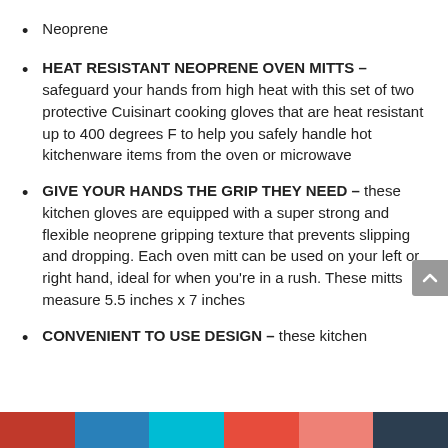Neoprene
HEAT RESISTANT NEOPRENE OVEN MITTS – safeguard your hands from high heat with this set of two protective Cuisinart cooking gloves that are heat resistant up to 400 degrees F to help you safely handle hot kitchenware items from the oven or microwave
GIVE YOUR HANDS THE GRIP THEY NEED – these kitchen gloves are equipped with a super strong and flexible neoprene gripping texture that prevents slipping and dropping. Each oven mitt can be used on your left or right hand, ideal for when you’re in a rush. These mitts measure 5.5 inches x 7 inches
CONVENIENT TO USE DESIGN – these kitchen